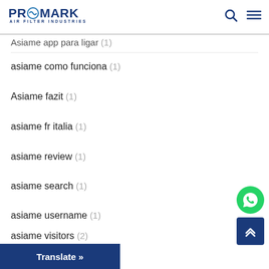PROMARK AIR FILTER INDUSTRIES
Asiame app para ligar (1)
asiame como funciona (1)
Asiame fazit (1)
asiame fr italia (1)
asiame review (1)
asiame search (1)
asiame username (1)
asiame visitors (2)
asiame web (1)
a... log in (1)